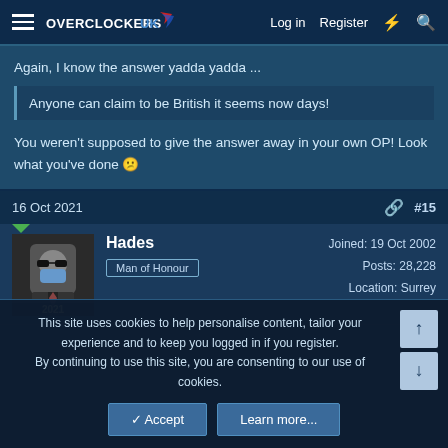OVERCLOCKERS UK  |  Log in  Register
Again, I know the answer yadda yadda ...
Anyone can claim to be British it seems now days!
You weren't supposed to give the answer away in your own OP! Look what you've done 😕
16 Oct 2021  #15
Hades
Man of Honour
Joined: 19 Oct 2002
Posts: 28,228
Location: Surrey
This site uses cookies to help personalise content, tailor your experience and to keep you logged in if you register.
By continuing to use this site, you are consenting to our use of cookies.